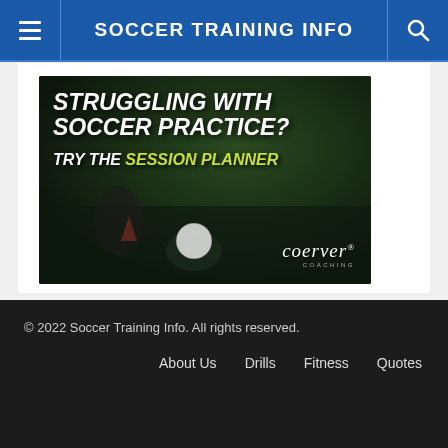SOCCER TRAINING INFO
[Figure (photo): Advertisement banner for Coerver Coaching Session Planner. Dark background with soccer field imagery, text reading 'STRUGGLING WITH SOCCER PRACTICE? TRY THE SESSION PLANNER' with Coerver logo.]
© 2022 Soccer Training Info. All rights reserved.
About Us   Drills   Fitness   Quotes